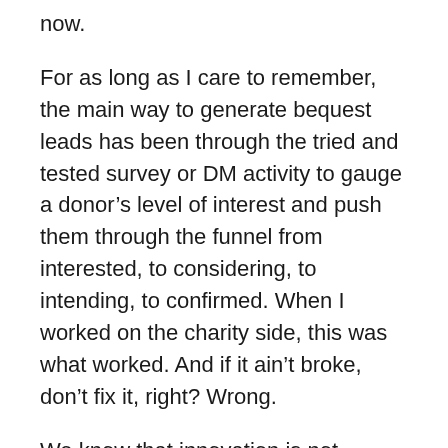now.
For as long as I care to remember, the main way to generate bequest leads has been through the tried and tested survey or DM activity to gauge a donor’s level of interest and push them through the funnel from interested, to considering, to intending, to confirmed. When I worked on the charity side, this was what worked. And if it ain’t broke, don’t fix it, right? Wrong.
We know that innovation is not always about the bright and shiny new thing. It’s about taking what we do and making it better—